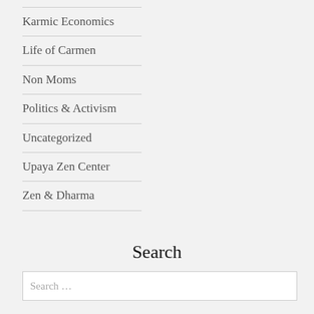Karmic Economics
Life of Carmen
Non Moms
Politics & Activism
Uncategorized
Upaya Zen Center
Zen & Dharma
Search
Search …